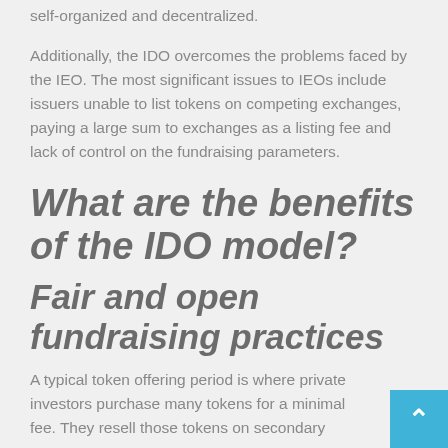self-organized and decentralized.
Additionally, the IDO overcomes the problems faced by the IEO. The most significant issues to IEOs include issuers unable to list tokens on competing exchanges, paying a large sum to exchanges as a listing fee and lack of control on the fundraising parameters.
What are the benefits of the IDO model?
Fair and open fundraising practices
A typical token offering period is where private investors purchase many tokens for a minimal fee. They resell those tokens on secondary